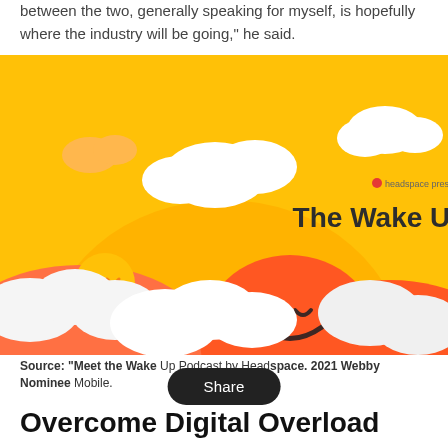between the two, generally speaking for myself, is hopefully where the industry will be going," he said.
[Figure (illustration): Colorful illustrated image of 'The Wake Up' podcast by Headspace, showing orange and yellow sunrise with clouds and smiling sun faces. Text reads 'headspace presents The Wake Up'.]
Source: "Meet the Wake [Up Podcast by Head]space. 2021 Webby Nominee Mobile.
Overcome Digital Overload